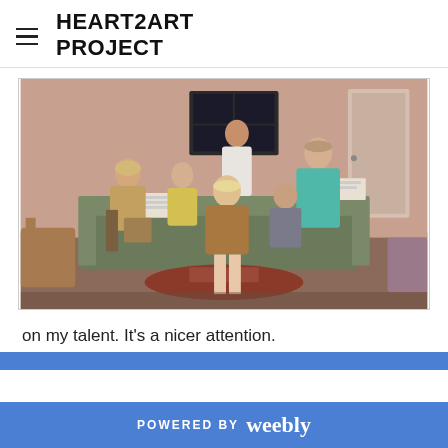HEART2ART PROJECT
[Figure (photo): Theater production photo showing six actors posed on and around a couch on a stage set resembling a living room. One actor in a tan trench coat sits on the left arm of the couch, a woman in a yellow jacket sits beside him, a man in a white shirt and a woman in a teal dress stand in the back, a blonde woman in a fur coat sits center front, and a young man in a suit sits to her right. A round wooden table is in front. The set has painted walls, a window, and a door.]
on my talent. It’s a nicer attention.
POWERED BY weebly